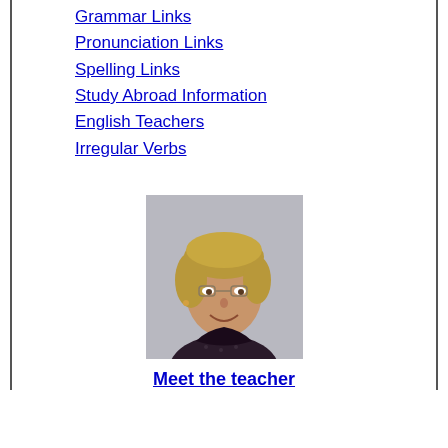Grammar Links
Pronunciation Links
Spelling Links
Study Abroad Information
English Teachers
Irregular Verbs
[Figure (photo): Portrait photo of a female English teacher with short blonde-brown hair, smiling, wearing glasses and a dark patterned top, photographed against a light gray background.]
Meet the teacher